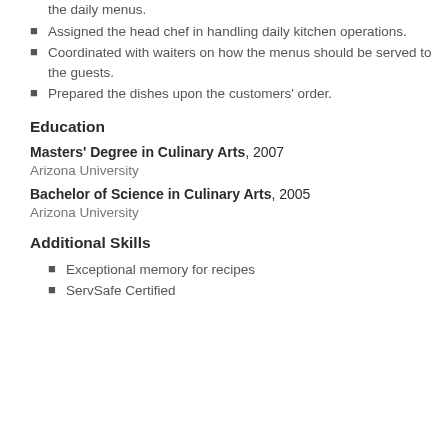the daily menus.
Assigned the head chef in handling daily kitchen operations.
Coordinated with waiters on how the menus should be served to the guests.
Prepared the dishes upon the customers' order.
Education
Masters' Degree in Culinary Arts, 2007
Arizona University
Bachelor of Science in Culinary Arts, 2005
Arizona University
Additional Skills
Exceptional memory for recipes
ServSafe Certified